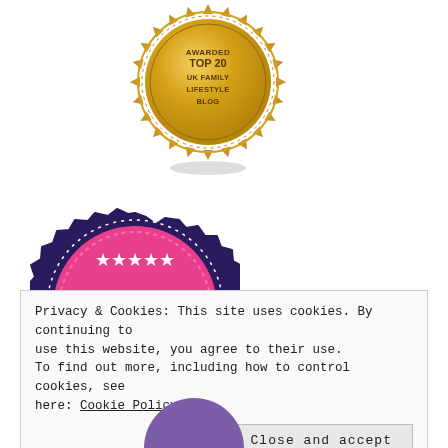[Figure (illustration): Gold award badge reading 'AWARDED TOP 20 UK FAMILY LIFESTYLE BLOG' with sunburst/scalloped edge design]
[Figure (illustration): Dark navy and pink/magenta circular badge with stars reading 'Top Parenting Blogs 2017']
Privacy & Cookies: This site uses cookies. By continuing to use this website, you agree to their use.
To find out more, including how to control cookies, see here: Cookie Policy
Close and accept
[Figure (illustration): Partially visible purple/mauve circular badge at bottom of page]